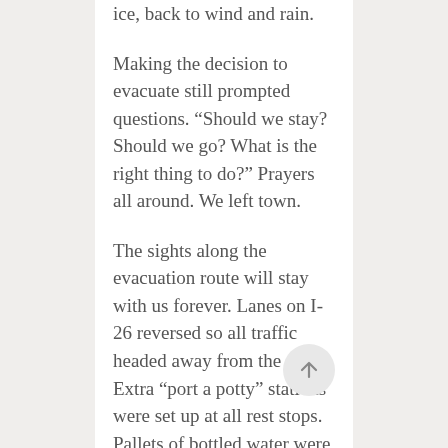ice, back to wind and rain.
Making the decision to evacuate still prompted questions. “Should we stay? Should we go? What is the right thing to do?” Prayers all around. We left town.
The sights along the evacuation route will stay with us forever. Lanes on I-26 reversed so all traffic headed away from the coast. Extra “port a potty” stations were set up at all rest stops. Pallets of bottled water were available at each rest